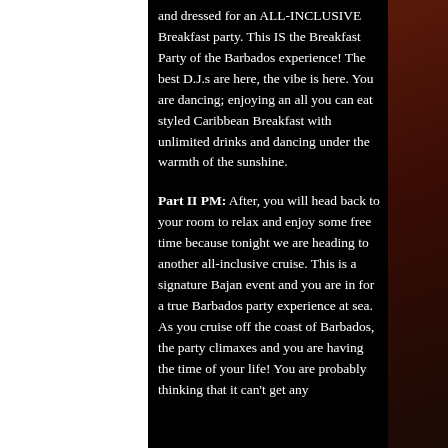and dressed for an ALL-INCLUSIVE Breakfast party. This IS the Breakfast Party of the Barbados experience! The best D.J.s are here, the vibe is here. You are dancing; enjoying an all you can eat styled Caribbean Breakfast with unlimited drinks and dancing under the warmth of the sunshine.
Part II PM: After, you will head back to your room to relax and enjoy some free time because tonight we are heading to another all-inclusive cruise. This is a signature Bajan event and you are in for a true Barbados party experience at sea. As you cruise off the coast of Barbados, the party climaxes and you are having the time of your life! You are probably thinking that it can't get any